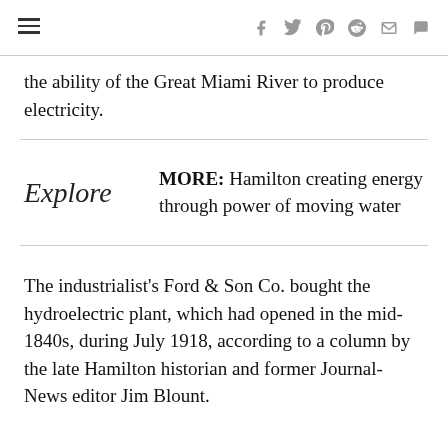hamburger menu and social icons (facebook, twitter, pinterest, reddit, email, comment)
the ability of the Great Miami River to produce electricity.
MORE: Hamilton creating energy through power of moving water
The industrialist's Ford & Son Co. bought the hydroelectric plant, which had opened in the mid-1840s, during July 1918, according to a column by the late Hamilton historian and former Journal-News editor Jim Blount.